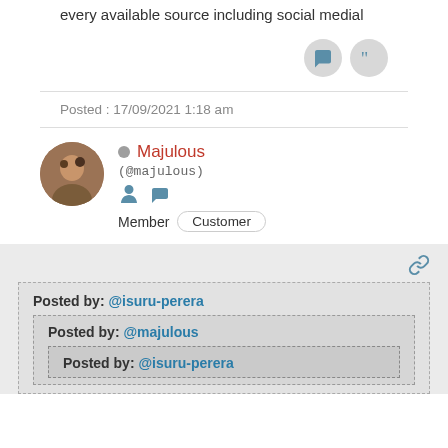every available source including social medial
Posted : 17/09/2021 1:18 am
Majulous (@majulous) Member Customer
Posted by: @isuru-perera Posted by: @majulous Posted by: @isuru-perera